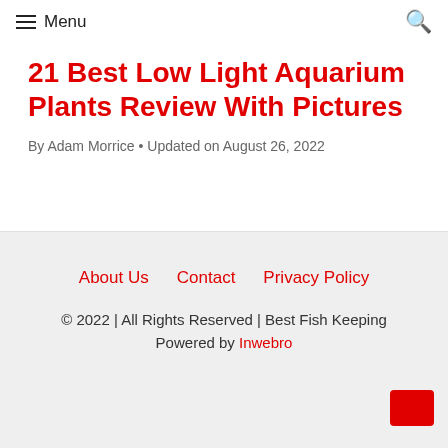Menu
21 Best Low Light Aquarium Plants Review With Pictures
By Adam Morrice • Updated on August 26, 2022
About Us   Contact   Privacy Policy
© 2022 | All Rights Reserved | Best Fish Keeping
Powered by Inwebro